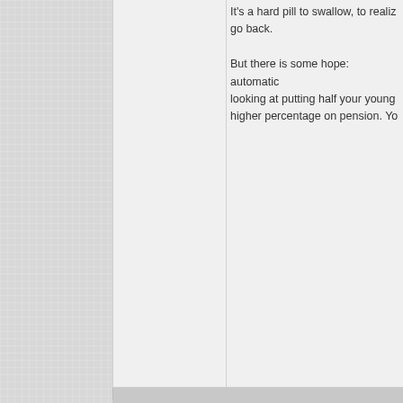It's a hard pill to swallow, to realize you can't go back. But there is some hope: automatic... looking at putting half your young... higher percentage on pension. Yo...
ox
Forum Cosmic Wizard
Join Date: Mar 2009
Posts: 2,037
June 20th, 2022, 06:03 AM
Originally Posted by T
Then it occurred to me:
Does that apply to viruses?
Family size increased d... hard pill to swallow